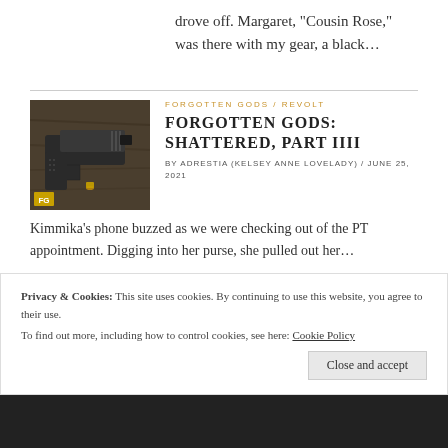drove off. Margaret, “Cousin Rose,” was there with my gear, a black…
[Figure (photo): Close-up photo of a dark handgun on a wooden surface with a small FG logo badge in the lower left corner]
FORGOTTEN GODS / REVOLT
FORGOTTEN GODS: SHATTERED, PART IIII
BY ADRESTIA (KELSEY ANNE LOVELADY) / JUNE 25, 2021
Kimmika’s phone buzzed as we were checking out of the PT appointment. Digging into her purse, she pulled out her…
Privacy & Cookies: This site uses cookies. By continuing to use this website, you agree to their use.
To find out more, including how to control cookies, see here: Cookie Policy
Close and accept